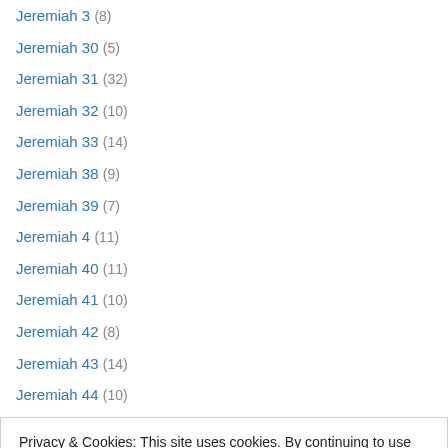Jeremiah 3 (8)
Jeremiah 30 (5)
Jeremiah 31 (32)
Jeremiah 32 (10)
Jeremiah 33 (14)
Jeremiah 38 (9)
Jeremiah 39 (7)
Jeremiah 4 (11)
Jeremiah 40 (11)
Jeremiah 41 (10)
Jeremiah 42 (8)
Jeremiah 43 (14)
Jeremiah 44 (10)
Privacy & Cookies: This site uses cookies. By continuing to use this website, you agree to their use. To find out more, including how to control cookies, see here: Cookie Policy
Jeremiah 52 (7)